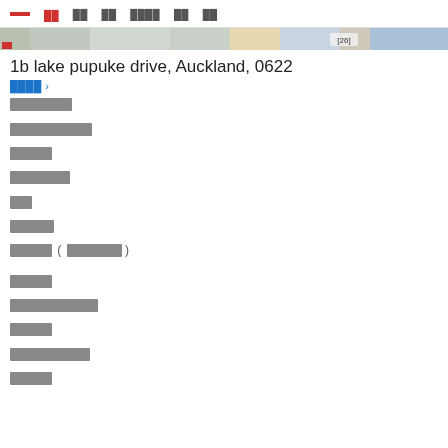[navigation bar with redacted menu items]
[Figure (photo): Partial banner/map image strip with tag [26]]
1b lake pupuke drive, Auckland, 0622
[redacted breadcrumb link] >
[redacted text item 1]
[redacted text item 2]
[redacted text item 3]
[redacted text item 4]
[redacted text item 5]
[redacted text item 6]
[redacted text item 7 with parenthetical]
[redacted text item 8]
[redacted text item 9]
[redacted text item 10]
[redacted text item 11]
[redacted text item 12]
[redacted text item 13]